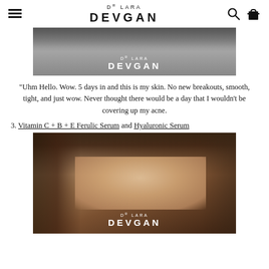DR LARA DEVGAN
[Figure (photo): Person wearing gray t-shirt with DR LARA DEVGAN logo overlay at bottom center]
“Uhm Hello. Wow. 5 days in and this is my skin. No new breakouts, smooth, tight, and just wow. Never thought there would be a day that I wouldn’t be covering up my acne.
3. Vitamin C + B + E Ferulic Serum and Hyaluronic Serum
[Figure (photo): Close-up of person’s forehead showing skin texture, hair framing face, DR LARA DEVGAN logo overlay at bottom center]